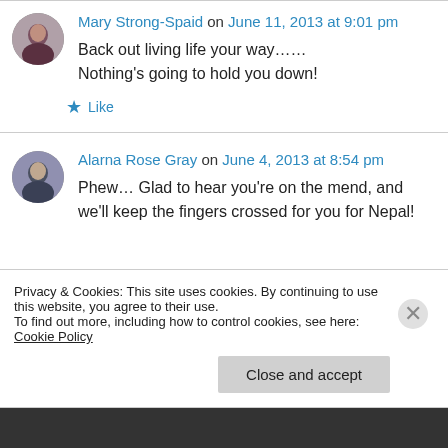Mary Strong-Spaid on June 11, 2013 at 9:01 pm
Back out living life your way……
Nothing's going to hold you down!
★ Like
Alarna Rose Gray on June 4, 2013 at 8:54 pm
Phew… Glad to hear you're on the mend, and we'll keep the fingers crossed for you for Nepal!
Privacy & Cookies: This site uses cookies. By continuing to use this website, you agree to their use.
To find out more, including how to control cookies, see here: Cookie Policy
Close and accept